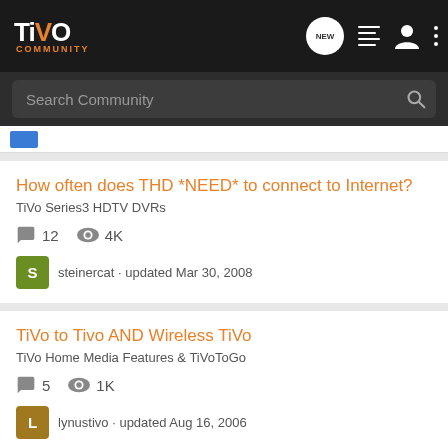TiVo Community
Search Community
How often does THD *NEED* to connect to Internet?
TiVo Series3 HDTV DVRs
12 replies, 4K views
steinercat · updated Mar 30, 2008
TiVo to Tivo AND Wireless TiVo
TiVo Home Media Features & TiVoToGo
5 replies, 1K views
lynustivo · updated Aug 16, 2006